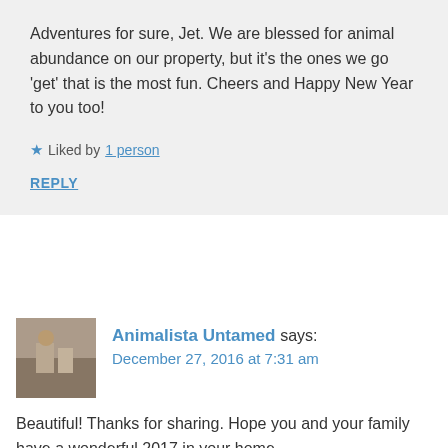Adventures for sure, Jet. We are blessed for animal abundance on our property, but it's the ones we go 'get' that is the most fun. Cheers and Happy New Year to you too!
★ Liked by 1 person
REPLY
[Figure (photo): Avatar thumbnail of Animalista Untamed — a person on a street scene]
Animalista Untamed says: December 27, 2016 at 7:31 am
Beautiful! Thanks for sharing. Hope you and your family have a wonderful 2017 in your home.
★ Like